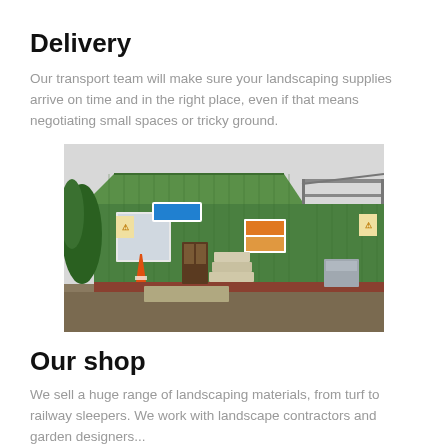Delivery
Our transport team will make sure your landscaping supplies arrive on time and in the right place, even if that means negotiating small spaces or tricky ground.
[Figure (photo): Exterior photo of a green timber-clad building with a green corrugated metal roof, signs on the facade, a traffic cone in front, stone slabs and materials stacked outside, and a pergola structure on the right.]
Our shop
We sell a huge range of landscaping materials, from turf to railway sleepers. We work with landscape contractors and garden designers...